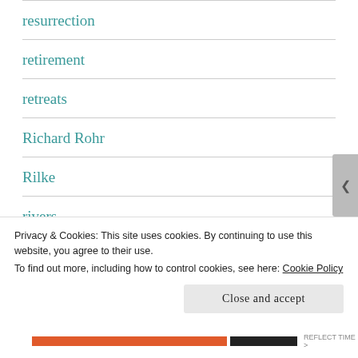resurrection
retirement
retreats
Richard Rohr
Rilke
rivers
rock and roll music
Privacy & Cookies: This site uses cookies. By continuing to use this website, you agree to their use. To find out more, including how to control cookies, see here: Cookie Policy
Close and accept